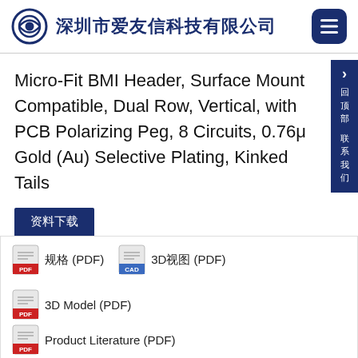深圳市爱友信科技有限公司
Micro-Fit BMI Header, Surface Mount Compatible, Dual Row, Vertical, with PCB Polarizing Peg, 8 Circuits, 0.76μ Gold (Au) Selective Plating, Kinked Tails
资料下载
规格 (PDF)   3D视图 (PDF)   3D Model (PDF)   Product Literature (PDF)
状态
| 规格 | Active |
| --- | --- |
| 规格 | Active |